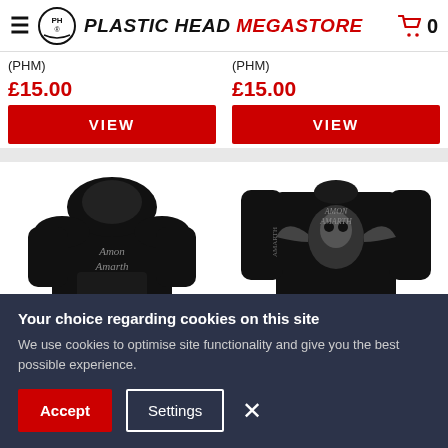Plastic Head Megastore — Cart: 0
(PHM)
£15.00
VIEW
(PHM)
£15.00
VIEW
[Figure (photo): Black Amon Amarth hoodie with logo text on front]
[Figure (photo): Black Amon Amarth long-sleeve shirt with skull graphic on back]
Your choice regarding cookies on this site
We use cookies to optimise site functionality and give you the best possible experience.
Accept  Settings  ×